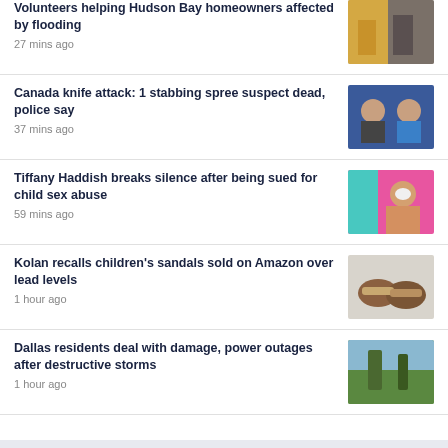Volunteers helping Hudson Bay homeowners affected by flooding
27 mins ago
[Figure (photo): Person helping with flood cleanup indoors]
Canada knife attack: 1 stabbing spree suspect dead, police say
37 mins ago
[Figure (photo): Two male suspects side by side, mugshot style]
Tiffany Haddish breaks silence after being sued for child sex abuse
59 mins ago
[Figure (photo): Woman with short blonde hair against pink background]
Kolan recalls children's sandals sold on Amazon over lead levels
1 hour ago
[Figure (photo): Pair of brown children's sandals on a surface]
Dallas residents deal with damage, power outages after destructive storms
1 hour ago
[Figure (photo): Storm damage outdoor scene with trees and debris]